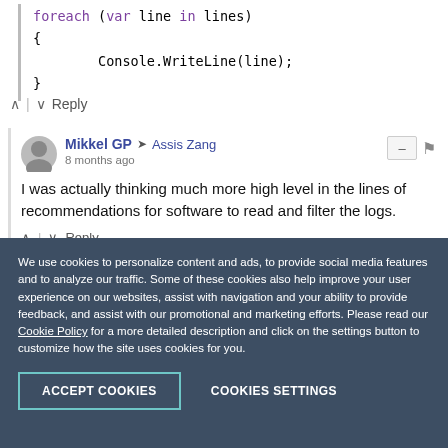foreach (var line in lines)
{
    Console.WriteLine(line);
}
Reply
Mikkel GP → Assis Zang
8 months ago
I was actually thinking much more high level in the lines of recommendations for software to read and filter the logs.
Reply
We use cookies to personalize content and ads, to provide social media features and to analyze our traffic. Some of these cookies also help improve your user experience on our websites, assist with navigation and your ability to provide feedback, and assist with our promotional and marketing efforts. Please read our Cookie Policy for a more detailed description and click on the settings button to customize how the site uses cookies for you.
ACCEPT COOKIES
COOKIES SETTINGS